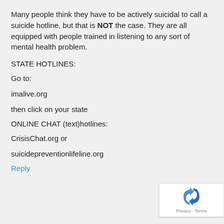Many people think they have to be actively suicidal to call a suicide hotline, but that is NOT the case. They are all equipped with people trained in listening to any sort of mental health problem.
STATE HOTLINES:
Go to:
imalive.org
then click on your state
ONLINE CHAT (text)hotlines:
CrisisChat.org or
suicidepreventionlifeline.org
Reply